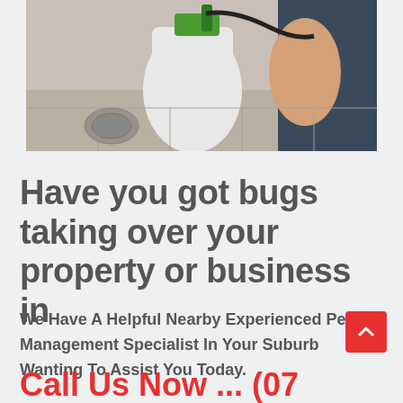[Figure (photo): Pest control technician holding a white spray pump/sprayer, wearing a dark uniform, photographed from chest down]
Have you got bugs taking over your property or business in
We Have A Helpful Nearby Experienced Pest Management Specialist In Your Suburb Wanting To Assist You Today.
Call Us Now ... (07